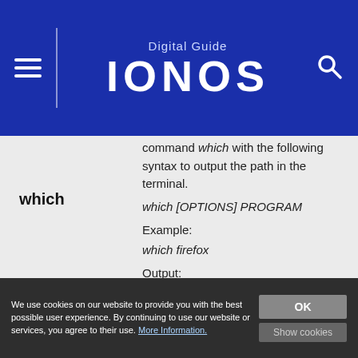Digital Guide IONOS
command which with the following syntax to output the path in the terminal.
which [OPTIONS] PROGRAM
which
Example:
which firefox
Output:
/usr/bin/firefox
In the default mode, which
We use cookies on our website to provide you with the best possible user experience. By continuing to use our website or services, you agree to their use. More Information.